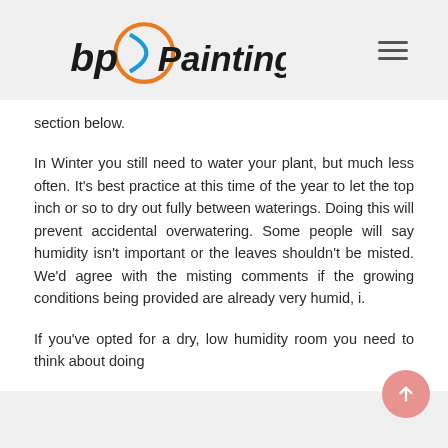bp Painting
section below.
In Winter you still need to water your plant, but much less often. It's best practice at this time of the year to let the top inch or so to dry out fully between waterings. Doing this will prevent accidental overwatering. Some people will say humidity isn't important or the leaves shouldn't be misted. We'd agree with the misting comments if the growing conditions being provided are already very humid, i.
If you've opted for a dry, low humidity room you need to think about doing